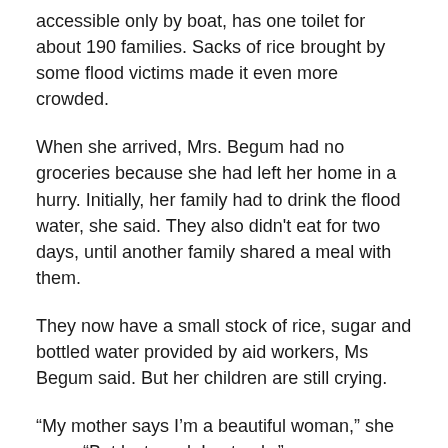accessible only by boat, has one toilet for about 190 families. Sacks of rice brought by some flood victims made it even more crowded.
When she arrived, Mrs. Begum had no groceries because she had left her home in a hurry. Initially, her family had to drink the flood water, she said. They also didn't eat for two days, until another family shared a meal with them.
They now have a small stock of rice, sugar and bottled water provided by aid workers, Ms Begum said. But her children are still crying.
“My mother says I’m a beautiful woman,” she says. “But last week I got ugly.”
Saif Hasnat reported from Pekerkhal, Bangladesh, and Mike Ives from Seoul.